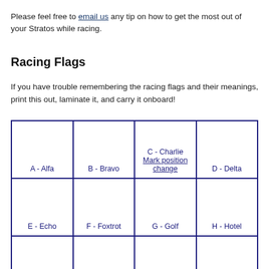Please feel free to email us any tip on how to get the most out of your Stratos while racing.
Racing Flags
If you have trouble remembering the racing flags and their meanings, print this out, laminate it, and carry it onboard!
| A - Alfa | B - Bravo | C - Charlie
Mark position change | D - Delta |
| E - Echo | F - Foxtrot | G - Golf | H - Hotel |
| I - India (partial) | J - Juliet (partial) | K - Kilo (partial) | L - Lima (partial) |